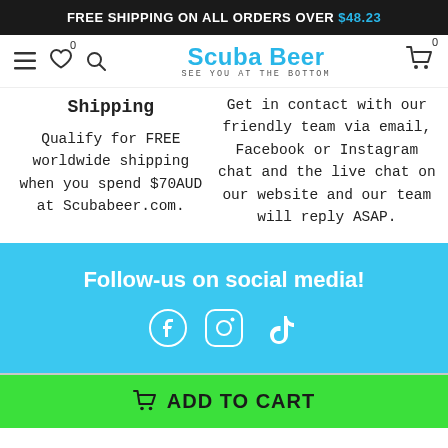FREE SHIPPING ON ALL ORDERS OVER $48.23
[Figure (screenshot): Scuba Beer website navigation bar with hamburger menu, heart icon, search icon, Scuba Beer logo with tagline 'SEE YOU AT THE BOTTOM', and shopping cart icon]
Shipping
Qualify for FREE worldwide shipping when you spend $70AUD at Scubabeer.com.
Get in contact with our friendly team via email, Facebook or Instagram chat and the live chat on our website and our team will reply ASAP.
Follow-us on social media!
[Figure (illustration): Social media icons: Facebook, Instagram, TikTok in white]
ADD TO CART